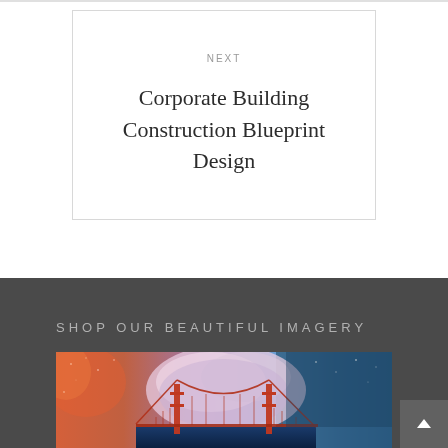NEXT
Corporate Building Construction Blueprint Design
SHOP OUR BEAUTIFUL IMAGERY
[Figure (illustration): Colorful artistic illustration of a suspension bridge (Golden Gate style) with a dramatic sky featuring orange, pink, purple, and blue hues with cloud-like paint splashes and stars.]